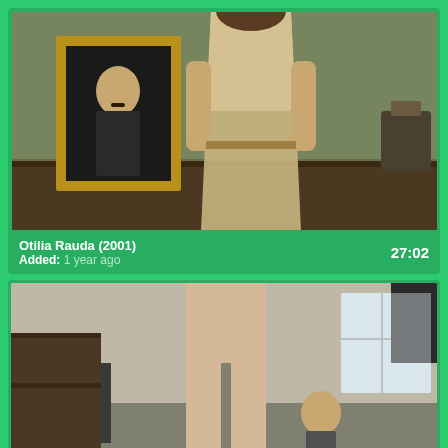[Figure (photo): Video thumbnail showing a woman in a period dress standing in a room with an ornate gold-framed portrait on the wall behind her]
Otilia Rauda (2001)
Added: 1 year ago
27:02
[Figure (photo): Video thumbnail showing a person from behind and another person visible in the background in an indoor setting]